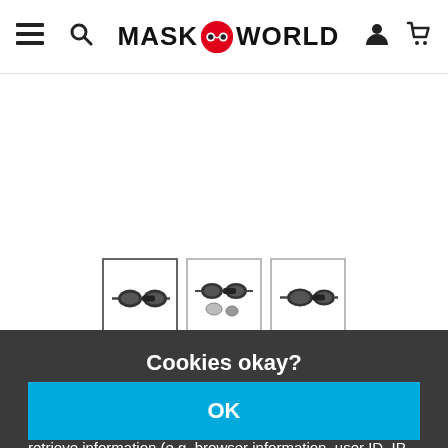MASK WORLD
[Figure (photo): Three thumbnail images of goggles/eye masks shown in a row]
Cookies okay?
Together with our partners, we require your consent (click on "OK") for individual data uses in order to store and retrieve information (e.g. browser information, user ID, IP address) and to process it or have it processed. The data usage is for personalised functionalities, content and ads
OK